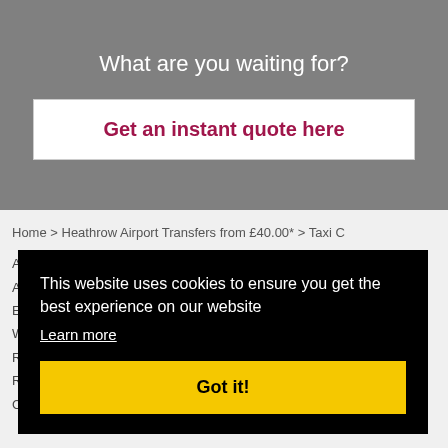What are you waiting for?
Get an instant quote here
Home > Heathrow Airport Transfers from £40.00* > Taxi C
A
A
E
W
R
R
C
This website uses cookies to ensure you get the best experience on our website
Learn more
Got it!